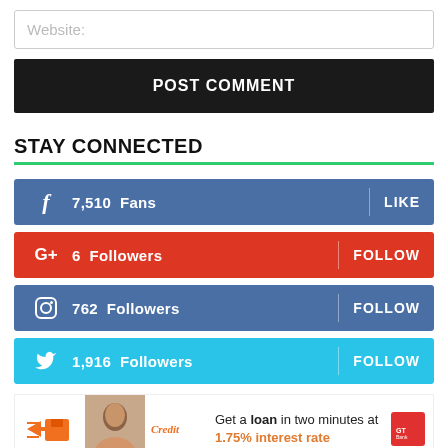Website:
POST COMMENT
STAY CONNECTED
7,510  Fans   LIKE
6  Followers   FOLLOW
762  Followers   FOLLOW
1,916  Followers   FOLLOW
[Figure (infographic): Advertisement banner: Get a loan in two minutes at 1.75% interest rate, with GTBank branding, orange delivery icon, woman photo, and Credite logo]